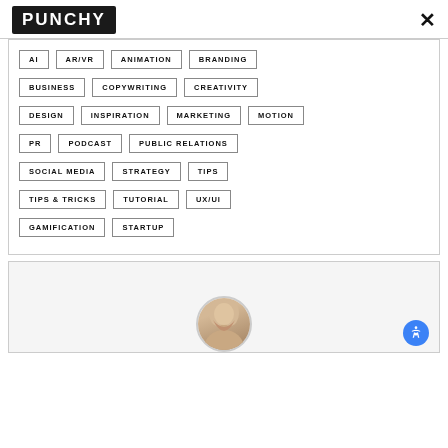PUNCHY  X
AI
AR/VR
ANIMATION
BRANDING
BUSINESS
COPYWRITING
CREATIVITY
DESIGN
INSPIRATION
MARKETING
MOTION
PR
PODCAST
PUBLIC RELATIONS
SOCIAL MEDIA
STRATEGY
TIPS
TIPS & TRICKS
TUTORIAL
UX/UI
GAMIFICATION
STARTUP
[Figure (photo): Partial view of a person with blonde hair at bottom of page]